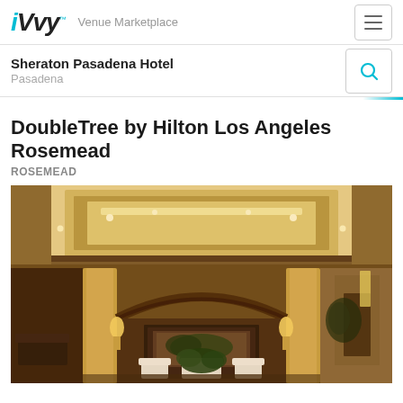iVvy Venue Marketplace
Sheraton Pasadena Hotel
Pasadena
DoubleTree by Hilton Los Angeles Rosemead
ROSEMEAD
[Figure (photo): Interior lobby photo of DoubleTree by Hilton Los Angeles Rosemead showing a warmly lit hotel lobby with coffered ceiling, recessed lighting, marble/stone columns, fireplace area with artwork, seating area with white chairs, and decorative plants]